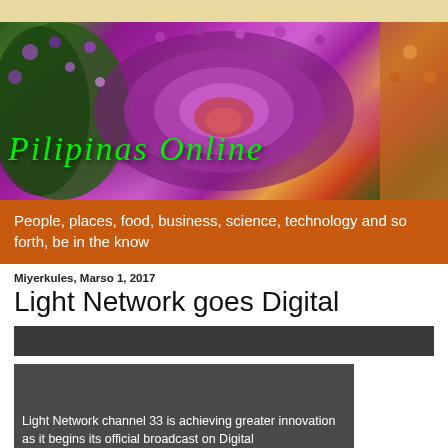[Figure (photo): Hero banner image showing colorful flower arch garden with purple and pink flowers. Text overlay: 'Pilipinas Online' in green italic script.]
People, places, food, business, science, technology and so forth, be in the know
Miyerkules, Marso 1, 2017
Light Network goes Digital
[Figure (other): Dark gray horizontal bar, likely a video player or placeholder]
[Figure (photo): Dark gray video thumbnail placeholder]
Light Network channel 33 is achieving greater innovation as it begins its official broadcast on Digital